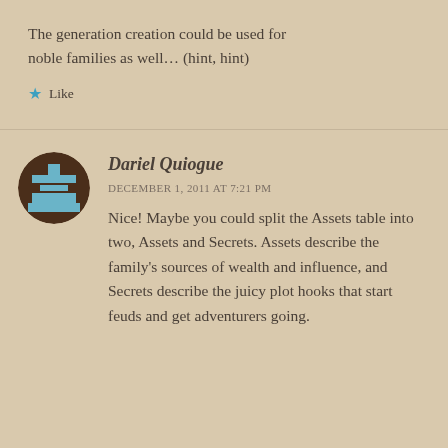The generation creation could be used for noble families as well… (hint, hint)
Like
[Figure (illustration): Pixel-art avatar of Dariel Quiogue: brown circular background with a blue and brown checkerboard/chess piece style icon (rook-like shape with blue and brown squares)]
Dariel Quiogue
DECEMBER 1, 2011 AT 7:21 PM
Nice! Maybe you could split the Assets table into two, Assets and Secrets. Assets describe the family's sources of wealth and influence, and Secrets describe the juicy plot hooks that start feuds and get adventurers going.